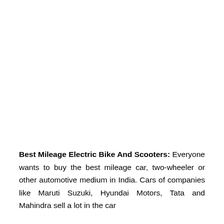Best Mileage Electric Bike And Scooters: Everyone wants to buy the best mileage car, two-wheeler or other automotive medium in India. Cars of companies like Maruti Suzuki, Hyundai Motors, Tata and Mahindra sell a lot in the car